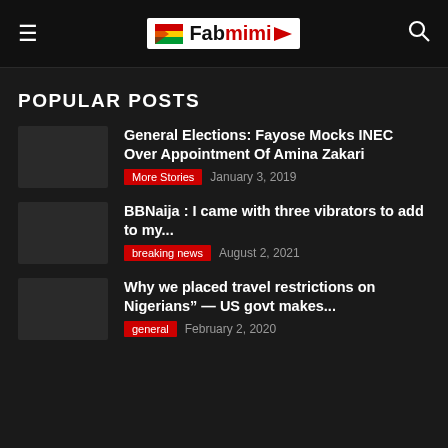Fabmimi
POPULAR POSTS
General Elections: Fayose Mocks INEC Over Appointment Of Amina Zakari | More Stories | January 3, 2019
BBNaija : I came with three vibrators to add to my... | breaking news | August 2, 2021
Why we placed travel restrictions on Nigerians" — US govt makes... | general | February 2, 2020